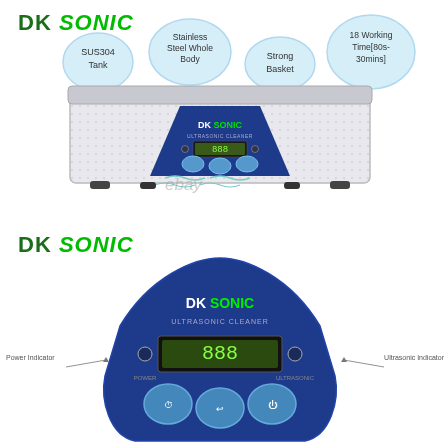[Figure (photo): DK Sonic ultrasonic cleaner product photo with feature callout bubbles: SUS304 Tank, Stainless Steel Whole Body, Strong Basket, 18 Working Time[80s-30mins]. White rectangular unit with blue triangular control panel featuring DK Sonic logo, LCD display, and three touch buttons. Ebay watermark visible.]
[Figure (photo): DK Sonic ultrasonic cleaner close-up of blue triangular control panel with DK Sonic logo, LCD display, Power Indicator and Ultrasonic Indicator labels, and three touch buttons at bottom.]